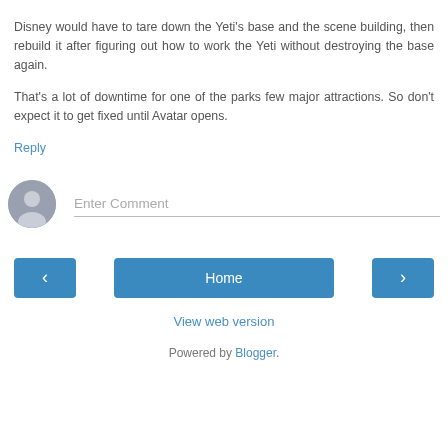Disney would have to tare down the Yeti's base and the scene building, then rebuild it after figuring out how to work the Yeti without destroying the base again.
That's a lot of downtime for one of the parks few major attractions. So don't expect it to get fixed until Avatar opens.
Reply
[Figure (other): Comment input area with user avatar icon and 'Enter Comment' placeholder text field]
[Figure (other): Navigation buttons: left arrow, Home, right arrow]
View web version
Powered by Blogger.